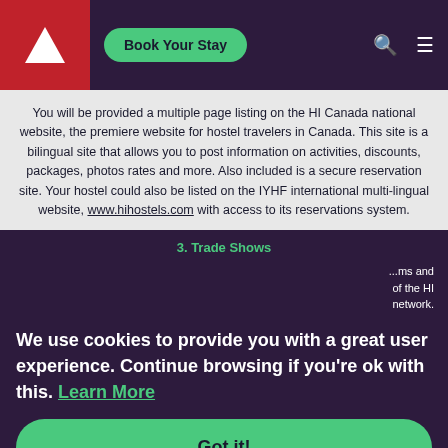HI Canada - Book Your Stay
You will be provided a multiple page listing on the HI Canada national website, the premiere website for hostel travelers in Canada. This site is a bilingual site that allows you to post information on activities, discounts, packages, photos rates and more. Also included is a secure reservation site. Your hostel could also be listed on the IYHF international multi-lingual website, www.hihostels.com with access to its reservations system.
3. Trade Shows
We use cookies to provide you with a great user experience. Continue browsing if you're ok with this. Learn More
Got it!
4. Membership Communications
As a membership organization, HI Canada communicates regularly with its members – over 30,000 across Canada. As an HI hostel, you would gain access to regional member newsletters